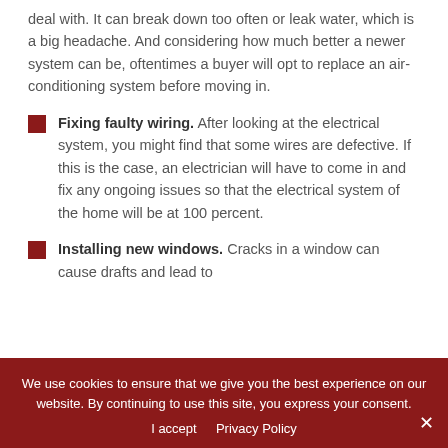deal with. It can break down too often or leak water, which is a big headache. And considering how much better a newer system can be, oftentimes a buyer will opt to replace an air-conditioning system before moving in.
Fixing faulty wiring. After looking at the electrical system, you might find that some wires are defective. If this is the case, an electrician will have to come in and fix any ongoing issues so that the electrical system of the home will be at 100 percent.
Installing new windows. Cracks in a window can cause drafts and lead to
We use cookies to ensure that we give you the best experience on our website. By continuing to use this site, you express your consent.
I accept   Privacy Policy